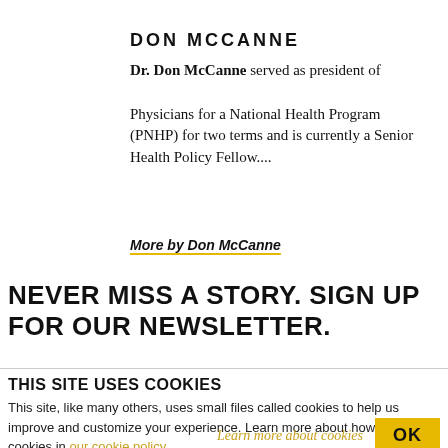DON MCCANNE
Dr. Don McCanne served as president of Physicians for a National Health Program (PNHP) for two terms and is currently a Senior Health Policy Fellow....
More by Don McCanne
NEVER MISS A STORY. SIGN UP FOR OUR NEWSLETTER.
THIS SITE USES COOKIES
This site, like many others, uses small files called cookies to help us improve and customize your experience. Learn more about how we use cookies in our cookie policy.
Learn more about cookies
OK